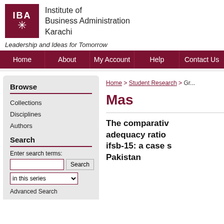[Figure (logo): IBA (Institute of Business Administration Karachi) logo with dark red/maroon square containing IBA text and star symbol]
Institute of Business Administration Karachi
Leadership and Ideas for Tomorrow
Home | About | My Account | Help | Contact Us
Browse
Collections
Disciplines
Authors
Search
Enter search terms:
in this series
Advanced Search
Home > Student Research > Gr...
Mas...
The comparative adequacy ratio ifsb-15: a case s... Pakistan